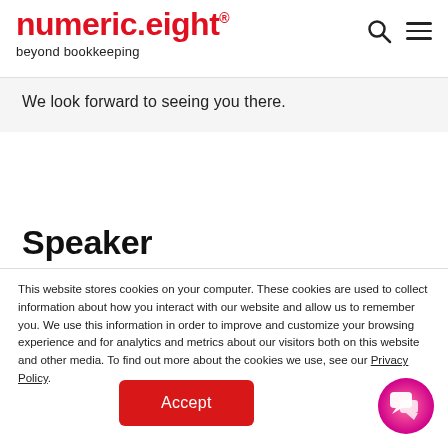numeric.eight® beyond bookkeeping
We look forward to seeing you there.
Speaker
This website stores cookies on your computer. These cookies are used to collect information about how you interact with our website and allow us to remember you. We use this information in order to improve and customize your browsing experience and for analytics and metrics about our visitors both on this website and other media. To find out more about the cookies we use, see our Privacy Policy.